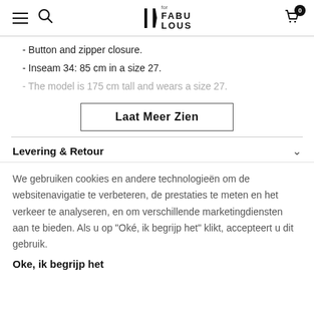for FABULOUS — navigation header with hamburger menu, search, logo, and cart (0)
- Button and zipper closure.
- Inseam 34: 85 cm in a size 27.
- The model is 175 cm tall and wears a size 27.
Laat Meer Zien
Levering & Retour
We gebruiken cookies en andere technologieën om de websitenavigatie te verbeteren, de prestaties te meten en het verkeer te analyseren, en om verschillende marketingdiensten aan te bieden. Als u op "Oké, ik begrijp het" klikt, accepteert u dit gebruik.
Oke, ik begrijp het